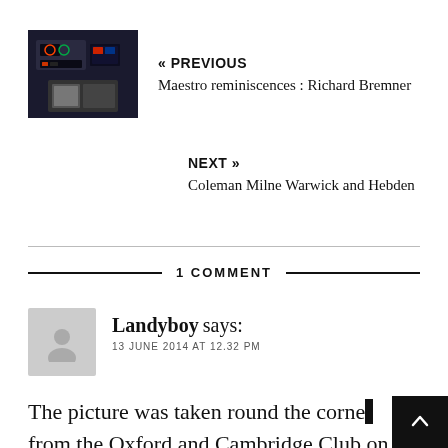[Figure (photo): Small thumbnail of a car dashboard/instrument panel interior, dark tones]
« PREVIOUS
Maestro reminiscences : Richard Bremner
NEXT »
Coleman Milne Warwick and Hebden
1 COMMENT
Landyboy says:
13 JUNE 2014 AT 12.32 PM
The picture was taken round the corner from the Oxford and Cambridge Club on